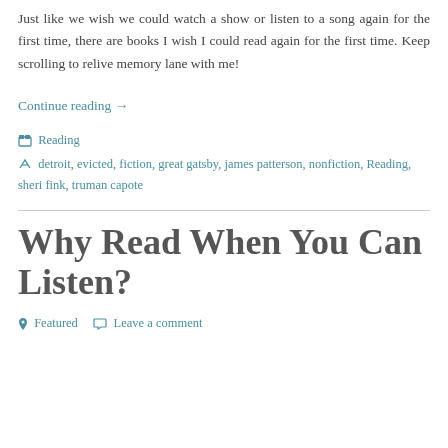Just like we wish we could watch a show or listen to a song again for the first time, there are books I wish I could read again for the first time. Keep scrolling to relive memory lane with me!
Continue reading →
Reading
detroit, evicted, fiction, great gatsby, james patterson, nonfiction, Reading, sheri fink, truman capote
Why Read When You Can Listen?
Featured   Leave a comment